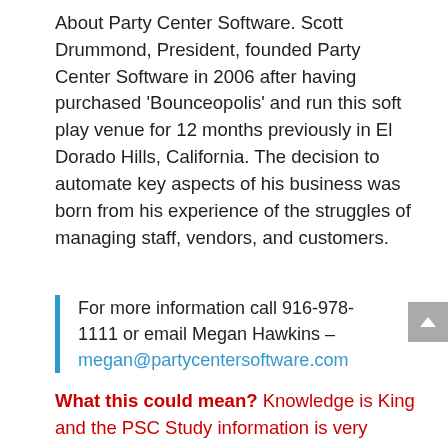About Party Center Software. Scott Drummond, President, founded Party Center Software in 2006 after having purchased 'Bounceopolis' and run this soft play venue for 12 months previously in El Dorado Hills, California. The decision to automate key aspects of his business was born from his experience of the struggles of managing staff, vendors, and customers.
For more information call 916-978-1111 or email Megan Hawkins – megan@partycentersoftware.com
What this could mean? Knowledge is King and the PSC Study information is very